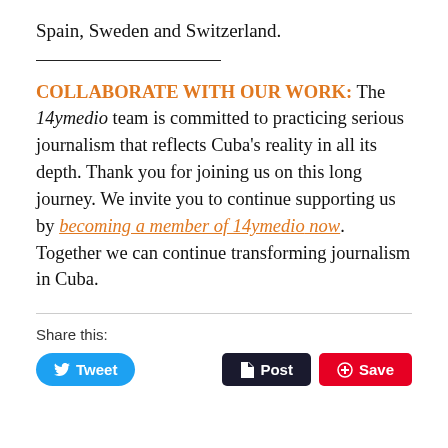Spain, Sweden and Switzerland.
COLLABORATE WITH OUR WORK: The 14ymedio team is committed to practicing serious journalism that reflects Cuba's reality in all its depth. Thank you for joining us on this long journey. We invite you to continue supporting us by becoming a member of 14ymedio now. Together we can continue transforming journalism in Cuba.
Share this:
Tweet  Post  Save